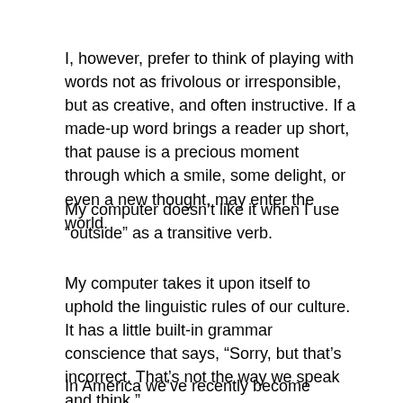I, however, prefer to think of playing with words not as frivolous or irresponsible, but as creative, and often instructive. If a made-up word brings a reader up short, that pause is a precious moment through which a smile, some delight, or even a new thought, may enter the world.
My computer doesn't like it when I use “outside” as a transitive verb.
My computer takes it upon itself to uphold the linguistic rules of our culture. It has a little built-in grammar conscience that says, “Sorry, but that’s incorrect. That’s not the way we speak and think.”
In America we’ve recently become comfortable with using